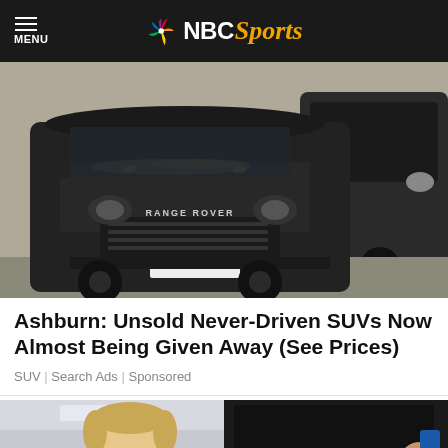MENU | NBC Sports
[Figure (photo): Dirty black Range Rover SUV parked next to another dark SUV in a lot, mud and debris on hood]
Ashburn: Unsold Never-Driven SUVs Now Almost Being Given Away (See Prices)
SUV | Search Ads | Sponsored
[Figure (photo): Partial view of two images side by side: person's head on left side, dark screen/TV on right side]